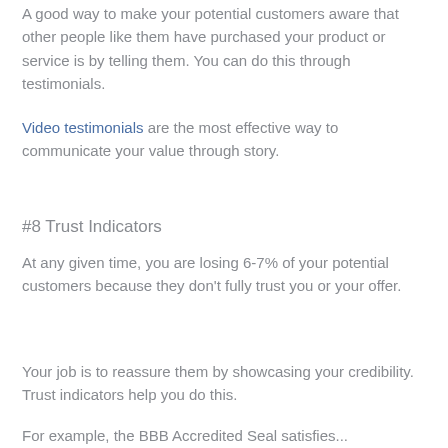A good way to make your potential customers aware that other people like them have purchased your product or service is by telling them. You can do this through testimonials.
Video testimonials are the most effective way to communicate your value through story.
#8 Trust Indicators
At any given time, you are losing 6-7% of your potential customers because they don't fully trust you or your offer.
Your job is to reassure them by showcasing your credibility. Trust indicators help you do this.
For example, the BBB Accredited Seal satisfies...